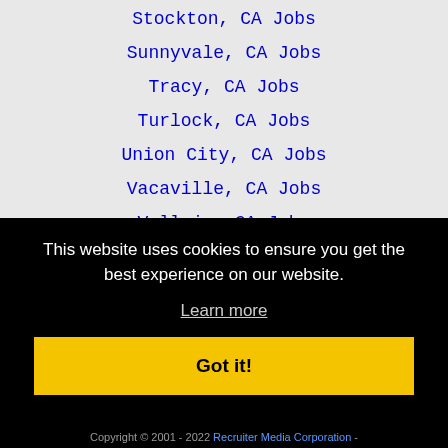Stockton, CA Jobs
Sunnyvale, CA Jobs
Tracy, CA Jobs
Turlock, CA Jobs
Union City, CA Jobs
Vacaville, CA Jobs
Vallejo, CA Jobs
Walnut Creek, CA Jobs
Watsonville, CA Jobs
West Sacramento, CA Jobs
This website uses cookies to ensure you get the best experience on our website.
Learn more
Got it!
Copyright © 2001 - 2022 Recruiter Media Corporation -